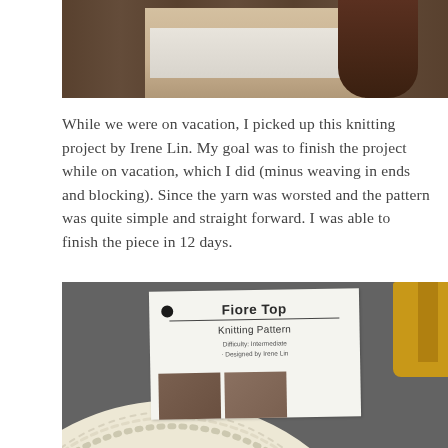[Figure (photo): Top portion of a photo showing a person wearing shorts, cropped at waist/thigh level, with a wooden fence background and long hair visible]
While we were on vacation, I picked up this knitting project by Irene Lin. My goal was to finish the project while on vacation, which I did (minus weaving in ends and blocking). Since the yarn was worsted and the pattern was quite simple and straight forward. I was able to finish the piece in 12 days.
[Figure (photo): Photo of a cream-colored knitted Fiore Top garment arched over a printed knitting pattern pamphlet reading 'Fiore Top, Knitting Pattern, Difficulty: Intermediate, Designed by Irene Lin', with yellow fabric visible in background and small model photos at bottom, set on grey pavement]